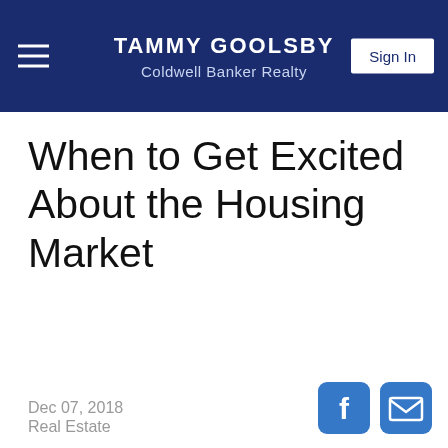TAMMY GOOLSBY
Coldwell Banker Realty
When to Get Excited About the Housing Market
Dec 07, 2018
Real Estate